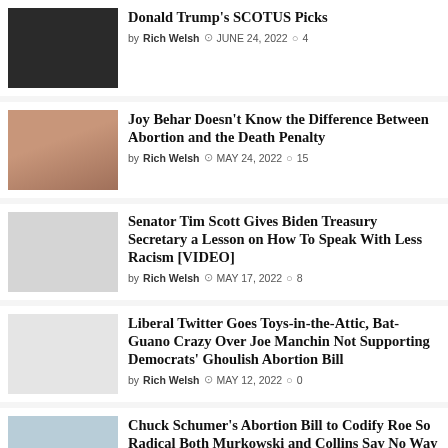Donald Trump's SCOTUS Picks — by Rich Welsh, JUNE 24, 2022, 4 comments
Joy Behar Doesn't Know the Difference Between Abortion and the Death Penalty — by Rich Welsh, MAY 24, 2022, 15 comments
Senator Tim Scott Gives Biden Treasury Secretary a Lesson on How To Speak With Less Racism [VIDEO] — by Rich Welsh, MAY 17, 2022, 8 comments
Liberal Twitter Goes Toys-in-the-Attic, Bat-Guano Crazy Over Joe Manchin Not Supporting Democrats' Ghoulish Abortion Bill — by Rich Welsh, MAY 12, 2022, 0 comments
Chuck Schumer's Abortion Bill to Codify Roe So Radical Both Murkowski and Collins Say No Way